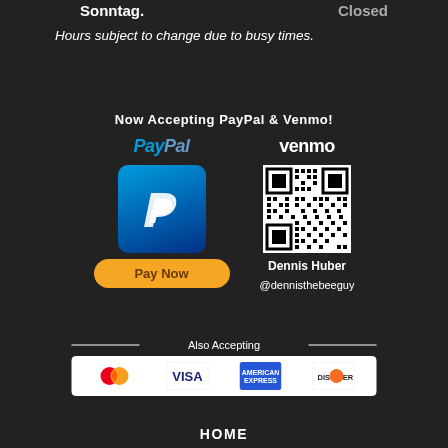Sonntag. Closed
Hours subject to change due to busy times.
Now Accepting PayPal & Venmo!
[Figure (logo): PayPal logo and Pay Now button with Venmo logo and QR code for Dennis Huber @dennisthebeeguy]
Also Accepting
[Figure (logo): Credit card logos: Mastercard, Visa, American Express, Discover]
HOME